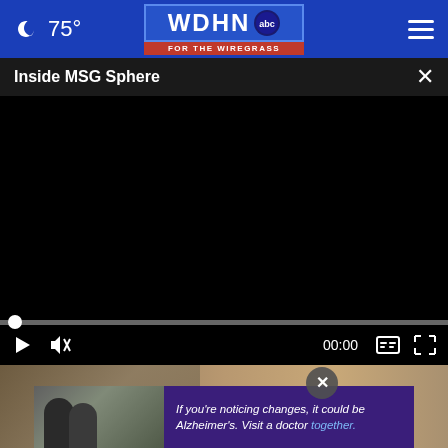75° WDHN ABC FOR THE WIREGRASS
Inside MSG Sphere
[Figure (screenshot): Black video player area showing a paused video titled 'Inside MSG Sphere' with play/mute controls, 00:00 timestamp, caption and fullscreen buttons]
[Figure (photo): Background photo showing people near a stone structure, partially visible behind an Alzheimer's advertisement overlay]
If you're noticing changes, it could be Alzheimer's. Visit a doctor together.